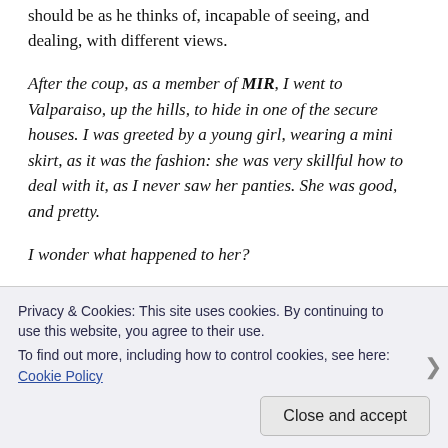should be as he thinks of, incapable of seeing, and dealing, with different views.
After the coup, as a member of MIR, I went to Valparaiso, up the hills, to hide in one of the secure houses. I was greeted by a young girl, wearing a mini skirt, as it was the fashion: she was very skillful how to deal with it, as I never saw her panties. She was good, and pretty.
I wonder what happened to her?
Would I go back to Chile? Apart of the money side, if I were I would go to the South, not to my birth place
Privacy & Cookies: This site uses cookies. By continuing to use this website, you agree to their use.
To find out more, including how to control cookies, see here: Cookie Policy
Close and accept